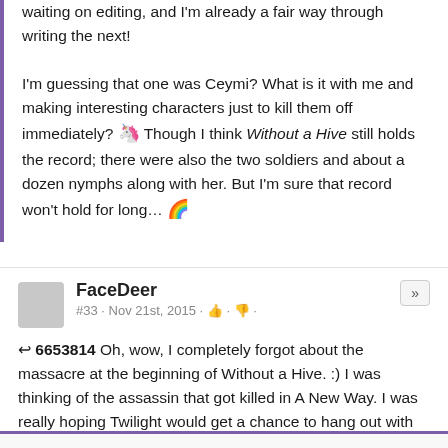waiting on editing, and I'm already a fair way through writing the next!

I'm guessing that one was Ceymi? What is it with me and making interesting characters just to kill them off immediately? 🦄 Though I think Without a Hive still holds the record; there were also the two soldiers and about a dozen nymphs along with her. But I'm sure that record won't hold for long… 🌈
FaceDeer
#33 · Nov 21st, 2015 · 👍 · 👎 ·
↩ 6653814 Oh, wow, I completely forgot about the massacre at the beginning of Without a Hive. :) I was thinking of the assassin that got killed in A New Way. I was really hoping Twilight would get a chance to hang out with her after peace broke out, so I guess that stuck with me.